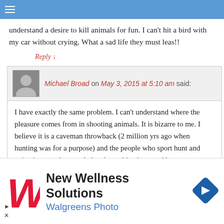Navigation menu header bar
understand a desire to kill animals for fun. I can’t hit a bird with my car without crying. What a sad life they must leas!!
Reply ↓
Michael Broad on May 3, 2015 at 5:10 am said:
I have exactly the same problem. I can’t understand where the pleasure comes from in shooting animals. It is bizarre to me. I believe it is a caveman throwback (2 million yrs ago when hunting was for a purpose) and the people who sport hunt and enjoy it are acting out their primeval instincts and have not developed emotionally or intellectually enough to banish those ancient instincts, If I am correct sport hunters are stupid and ignorant and it uld not be allowed because governments should not
[Figure (advertisement): Walgreens New Wellness Solutions advertisement with Walgreens logo W in red and blue navigation icon]